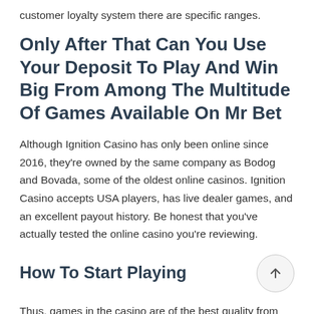customer loyalty system there are specific ranges.
Only After That Can You Use Your Deposit To Play And Win Big From Among The Multitude Of Games Available On Mr Bet
Although Ignition Casino has only been online since 2016, they're owned by the same company as Bodog and Bovada, some of the oldest online casinos. Ignition Casino accepts USA players, has live dealer games, and an excellent payout history. Be honest that you've actually tested the online casino you're reviewing.
How To Start Playing
Thus, games in the casino are of the best quality from top-notch designers. Betting is better provided information and...